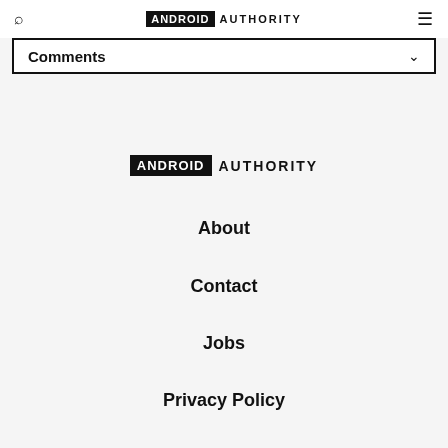ANDROID AUTHORITY
Comments
[Figure (logo): Android Authority logo in footer area]
About
Contact
Jobs
Privacy Policy